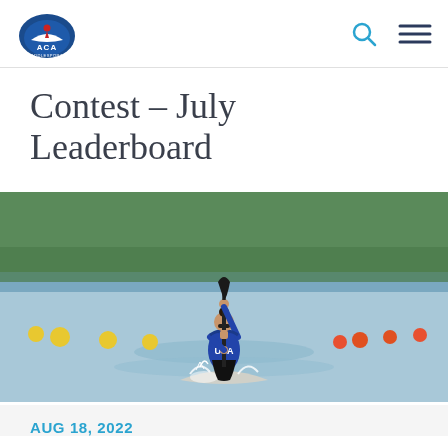ACA Paddlesports
Contest – July Leaderboard
[Figure (photo): A USA canoe/kayak athlete paddling at high speed on water, surrounded by yellow lane buoys, at what appears to be a competitive sprint canoe event. The athlete wears a blue USA jersey and sunglasses.]
AUG 18, 2022